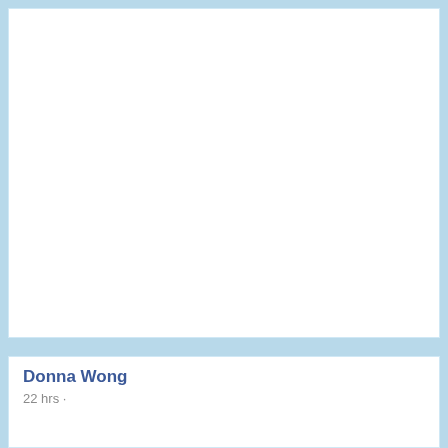[Figure (other): White content card area (top), likely containing an image or content that is blank/white in this view]
Donna Wong
22 hrs ·